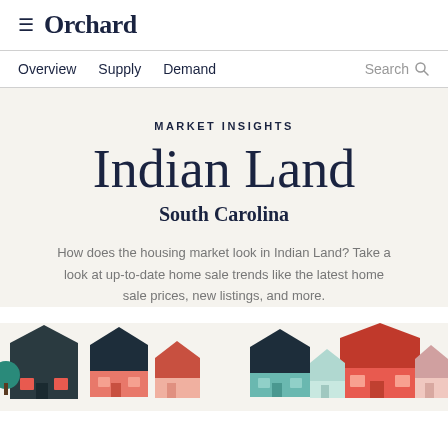≡ Orchard
Overview  Supply  Demand  Search
MARKET INSIGHTS
Indian Land
South Carolina
How does the housing market look in Indian Land? Take a look at up-to-date home sale trends like the latest home sale prices, new listings, and more.
[Figure (illustration): Row of illustrated houses in teal, coral/red, and pink colors at the bottom of the page]